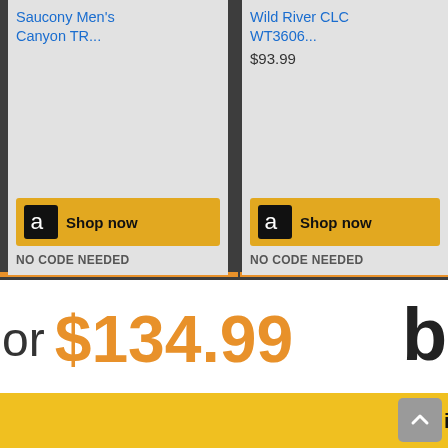[Figure (screenshot): Two Amazon product cards on dark background: 'Saucony Men's Canyon TR...' and 'Wild River CLC WT3606...' priced at $93.99, each with yellow Shop now buttons and NO CODE NEEDED text]
or $134.99
This website uses cookies to ensure you get the best experience on our website.
Learn more
Got it!